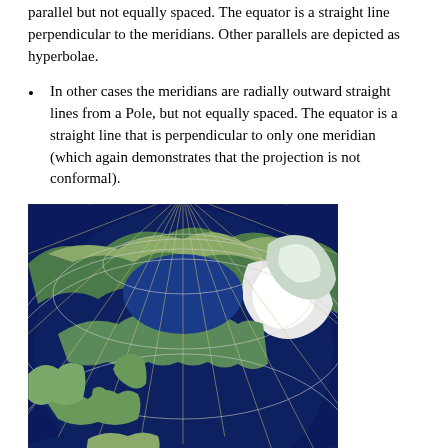parallel but not equally spaced. The equator is a straight line perpendicular to the meridians. Other parallels are depicted as hyperbolae.
In other cases the meridians are radially outward straight lines from a Pole, but not equally spaced. The equator is a straight line that is perpendicular to only one meridian (which again demonstrates that the projection is not conformal).
[Figure (map): A map projection of the northern hemisphere showing Europe, Russia, North America and the Arctic, with radial meridian lines and circular parallels visible as a grid overlay on a satellite-style image.]